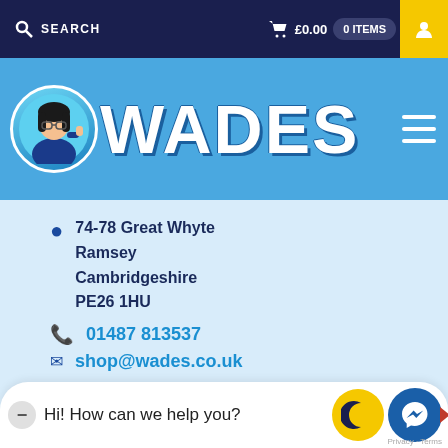SEARCH   £0.00   0 ITEMS
[Figure (logo): Wades shop logo with mascot character and WADES text in large white letters on blue banner]
74-78 Great Whyte
Ramsey
Cambridgeshire
PE26 1HU
01487 813537
shop@wades.co.uk
Wades is a long established third-generation family owned business in the heart of Ramsey, Cambridgeshire.
Hi! How can we help you?